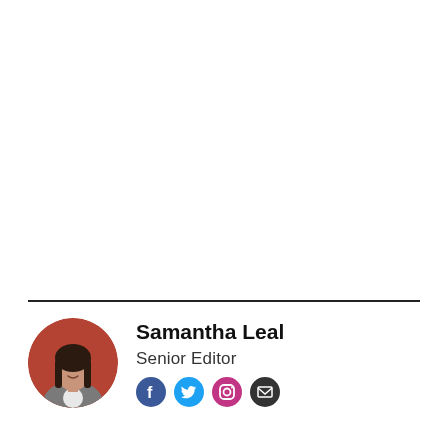[Figure (photo): Circular portrait photo of Samantha Leal, a woman with long dark hair wearing a grey blazer, posed against a reddish-brown brick wall background.]
Samantha Leal
Senior Editor